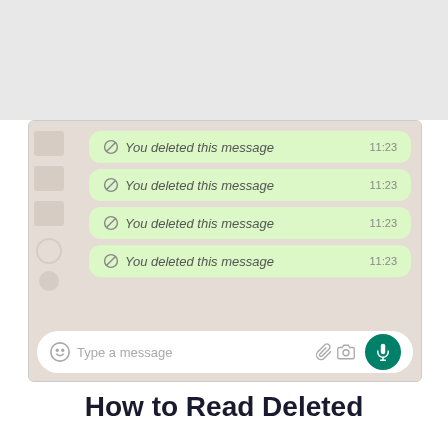[Figure (screenshot): WhatsApp chat screenshot showing four green message bubbles each reading 'You deleted this message' at 11:23, with a message input bar at the bottom showing 'Type a message' placeholder, emoji icon, attachment icon, camera icon, and green microphone button.]
How to Read Deleted